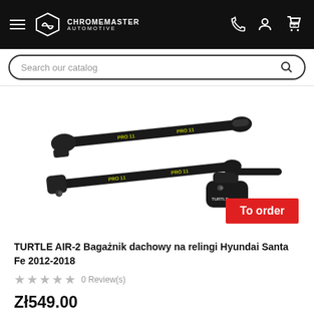CHROMEMASTER AUTOMOTIVE
Search our catalog
[Figure (photo): Two black TURTLE AIR-2 roof rack bars/crossbars with PRO 11 branding, shown disassembled with mounting clamps. A red 'To order' badge is overlaid in the bottom right.]
TURTLE AIR-2 Bagażnik dachowy na relingi Hyundai Santa Fe 2012-2018
★★★★★ 0 Review(s)
Zł549.00